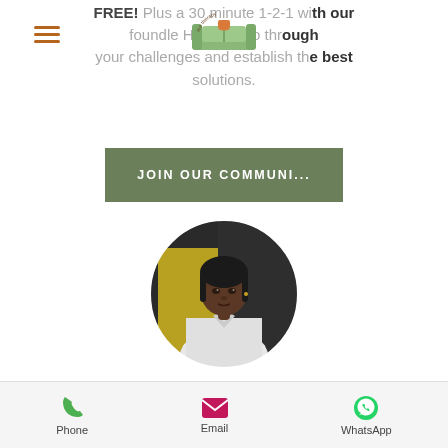[Figure (logo): Tea of Therapy logo — a sofa/couch illustration with 'tea therapy' text arc above it]
FREE! Plus a 30 minute 1-2-1 with our founder Nicole Henry to go through your challenges and establish the best solutions.
JOIN OUR COMMUNI...
[Figure (photo): Circular profile photo of Nicole Henry, a young Black woman wearing a white button-up shirt, photographed against a dark background]
Nicole Henry is the founder of Tea of
Phone   Email   WhatsApp